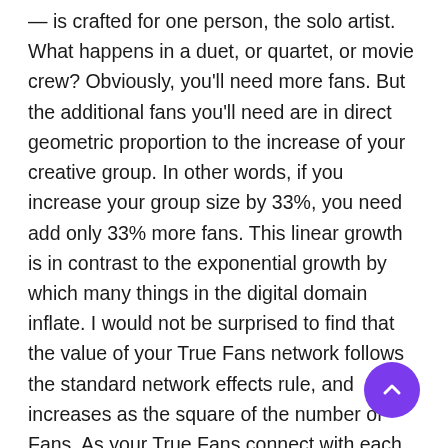— is crafted for one person, the solo artist. What happens in a duet, or quartet, or movie crew? Obviously, you'll need more fans. But the additional fans you'll need are in direct geometric proportion to the increase of your creative group. In other words, if you increase your group size by 33%, you need add only 33% more fans. This linear growth is in contrast to the exponential growth by which many things in the digital domain inflate. I would not be surprised to find that the value of your True Fans network follows the standard network effects rule, and increases as the square of the number of Fans. As your True Fans connect with each other, they will more readily increase their average spending on your works. So while increasing the numbers of artists involved in creation increases the number of True Fans needed, the increase does not explode, but rise gently and in proportion.